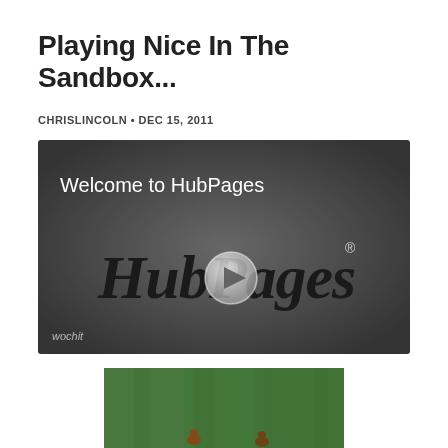Playing Nice In The Sandbox...
CHRISLINCOLN • DEC 15, 2011
[Figure (screenshot): Video thumbnail showing HubPages welcome video with HubPages logo and play button overlay, 'wochit' watermark in lower left]
[Figure (photo): Partial photo of green grass with small figures (ducks or birds) visible at the bottom edge]